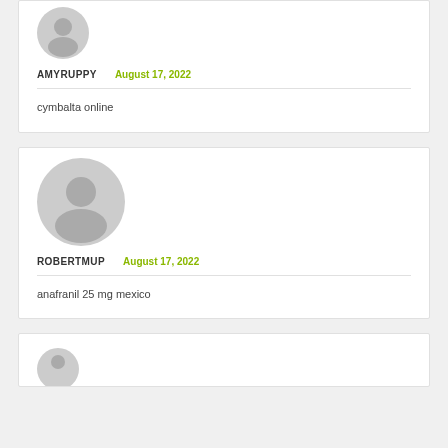[Figure (illustration): Gray default user avatar icon (top, partially visible)]
AMYRUPPY
August 17, 2022
cymbalta online
[Figure (illustration): Gray default user avatar icon (second comment)]
ROBERTMUP
August 17, 2022
anafranil 25 mg mexico
[Figure (illustration): Gray default user avatar icon (third comment, partially visible)]